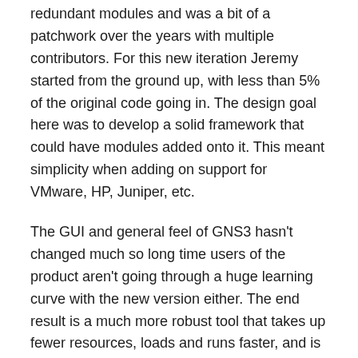redundant modules and was a bit of a patchwork over the years with multiple contributors. For this new iteration Jeremy started from the ground up, with less than 5% of the original code going in. The design goal here was to develop a solid framework that could have modules added onto it. This meant simplicity when adding on support for VMware, HP, Juniper, etc.
The GUI and general feel of GNS3 hasn't changed much so long time users of the product aren't going through a huge learning curve with the new version either. The end result is a much more robust tool that takes up fewer resources, loads and runs faster, and is generally a lot friendlier to use.
Multi-vendor